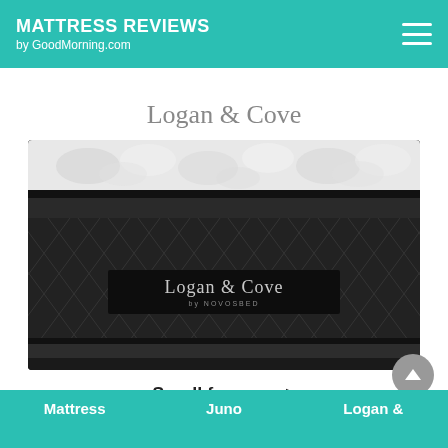MATTRESS REVIEWS by GoodMorning.com
Logan & Cove
[Figure (photo): Close-up photo of a Logan & Cove mattress by Novosbed, showing a white pillow-top upper section and a dark charcoal/black quilted diamond-pattern body with a fabric label reading 'Logan & Cove by NOVOSBED']
Scroll for more >
Mattress
Juno
Logan &